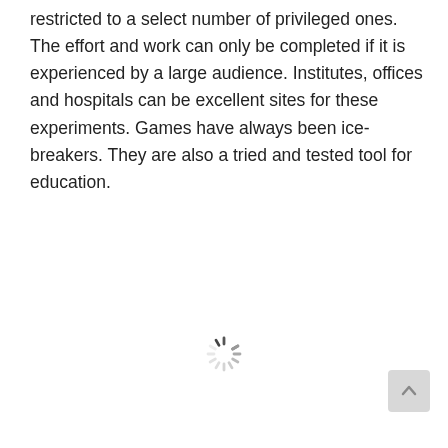restricted to a select number of privileged ones. The effort and work can only be completed if it is experienced by a large audience. Institutes, offices and hospitals can be excellent sites for these experiments. Games have always been ice-breakers. They are also a tried and tested tool for education.
[Figure (other): A loading spinner (circular progress indicator) centered on the page]